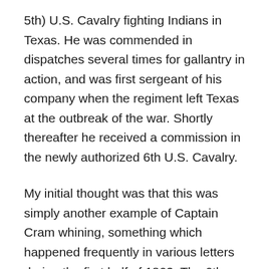5th) U.S. Cavalry fighting Indians in Texas. He was commended in dispatches several times for gallantry in action, and was first sergeant of his company when the regiment left Texas at the outbreak of the war. Shortly thereafter he received a commission in the newly authorized 6th U.S. Cavalry.
My initial thought was that this was simply another example of Captain Cram whining, something which happened frequently in various letters during the first half of 1863. The 6th U.S. Cavalry's picket line was over fifteen miles from its camp, and moving supplies for the regiment was a challenge even with an officer dedicated to it full time. Brigade and division staffs were pulled from regimental officers, and Captain Cram wanted his lieutenant back. A reasonable issue and request, but one common to many regiments. It would have helped